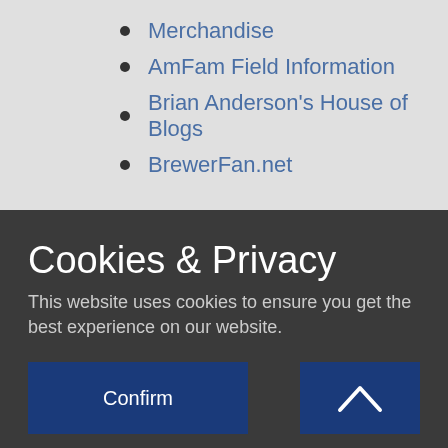Merchandise
AmFam Field Information
Brian Anderson's House of Blogs
BrewerFan.net
Cookies & Privacy
This website uses cookies to ensure you get the best experience on our website.